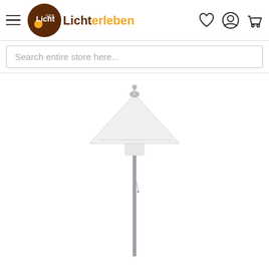[Figure (logo): Lichter-leben GES logo: dark brown circle with orange dot and GES superscript, with brand name 'Licht' in brown and 'erleben' in orange]
Search entire store here...
[Figure (photo): A tall floor lamp with a wide white conical shade, chrome/metal pole standing on a base. The shade is a broad flat cone shape with a small finial on top. The lamp has a cylindrical white diffuser below the shade and a thin chrome pole extending to the bottom of the image.]